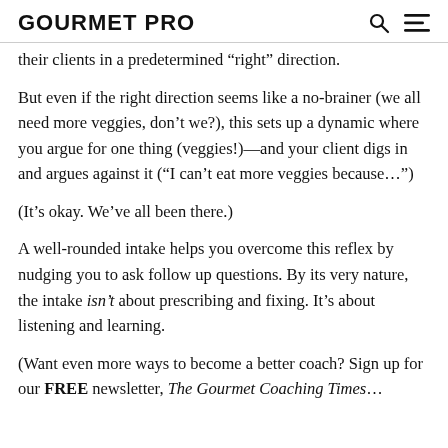GOURMET PRO
their clients in a predetermined “right” direction.
But even if the right direction seems like a no-brainer (we all need more veggies, don’t we?), this sets up a dynamic where you argue for one thing (veggies!)—and your client digs in and argues against it (“I can’t eat more veggies because…”)
(It’s okay. We’ve all been there.)
A well-rounded intake helps you overcome this reflex by nudging you to ask follow up questions. By its very nature, the intake isn’t about prescribing and fixing. It’s about listening and learning.
(Want even more ways to become a better coach? Sign up for our FREE newsletter, The Gourmet Coaching Times…